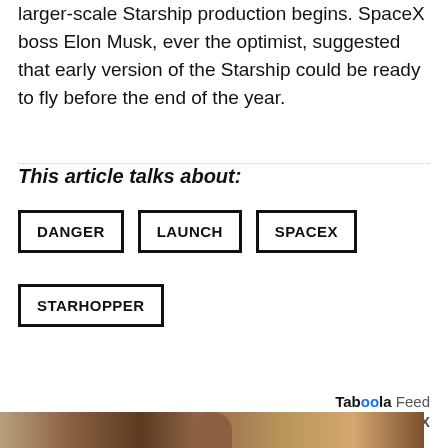larger-scale Starship production begins. SpaceX boss Elon Musk, ever the optimist, suggested that early version of the Starship could be ready to fly before the end of the year.
This article talks about:
DANGER
LAUNCH
SPACEX
STARHOPPER
[Figure (other): Taboola Feed advertisement banner with a partial image of a person at the bottom]
X